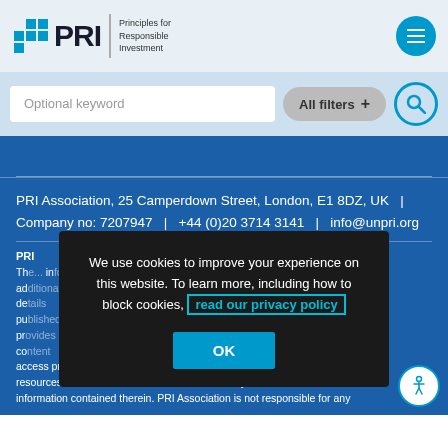[Figure (logo): PRI - Principles for Responsible Investment logo with blue grid squares and text]
[Figure (screenshot): Search bar with 'Optional keyword' placeholder, 'All filters +' button, and search icon]
PRI Association, 25 Camperdown Street, London, E1 8DZ, UK  |  Company no: 7207947  |  +44 (0)20 3714 3141  |  info@unpri.org
[Figure (screenshot): Cookie consent overlay: 'We use cookies to improve your experience on this website. To learn more, including how to block cookies, read our privacy policy' with OK button]
PRI Association is not responsible for any access provided to these sites or the provision of such information resources does not constitute an endorsement by PRI Association or information contained therein. PRI Association is not responsible for any